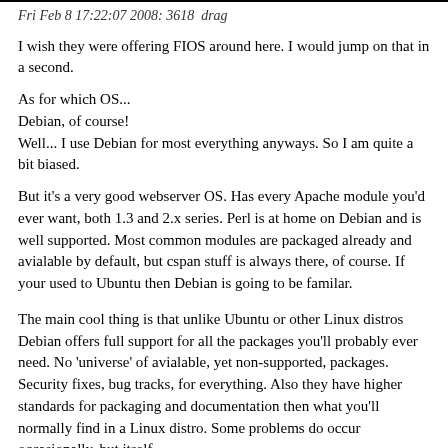Fri Feb 8 17:22:07 2008: 3618  drag
I wish they were offering FIOS around here. I would jump on that in a second.
As for which OS...
Debian, of course!
Well... I use Debian for most everything anyways. So I am quite a bit biased.
But it's a very good webserver OS. Has every Apache module you'd ever want, both 1.3 and 2.x series. Perl is at home on Debian and is well supported. Most common modules are packaged already and avialable by default, but cspan stuff is always there, of course. If your used to Ubuntu then Debian is going to be familar.
The main cool thing is that unlike Ubuntu or other Linux distros Debian offers full support for all the packages you'll probably ever need. No 'universe' of avialable, yet non-supported, packages. Security fixes, bug tracks, for everything. Also they have higher standards for packaging and documentation then what you'll normally find in a Linux distro. Some problems do occur occasionally, but itself